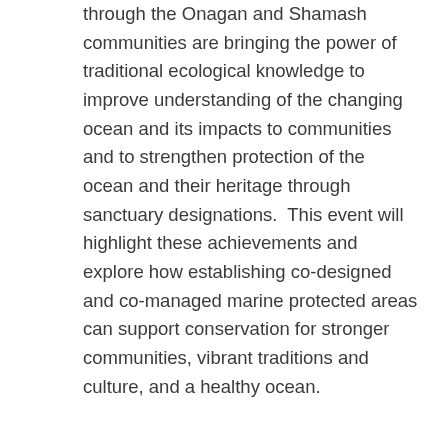through the Onagan and Shamash communities are bringing the power of traditional ecological knowledge to improve understanding of the changing ocean and its impacts to communities and to strengthen protection of the ocean and their heritage through sanctuary designations.  This event will highlight these achievements and explore how establishing co-designed and co-managed marine protected areas can support conservation for stronger communities, vibrant traditions and culture, and a healthy ocean.